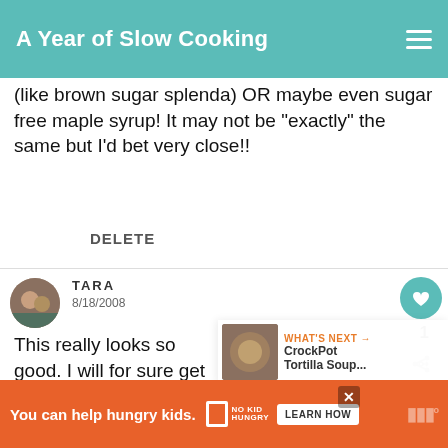A Year of Slow Cooking
(like brown sugar splenda) OR maybe even sugar free maple syrup! It may not be "exactly" the same but I'd bet very close!!
DELETE
1
TARA
8/18/2008
This really looks so good. I will for sure get all the stuff and have it for dinner tom
WHAT'S NEXT → CrockPot Tortilla Soup...
You can help hungry kids.  NO KID HUNGRY  LEARN HOW